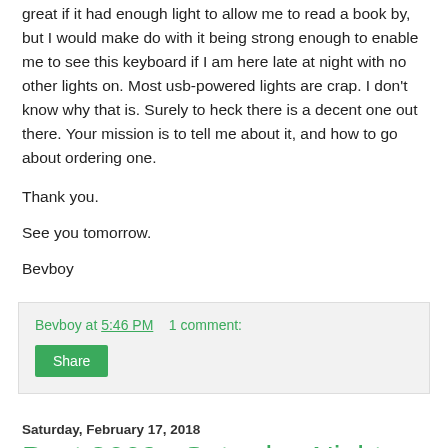great if it had enough light to allow me to read a book by, but I would make do with it being strong enough to enable me to see this keyboard if I am here late at night with no other lights on. Most usb-powered lights are crap. I don't know why that is. Surely to heck there is a decent one out there. Your mission is to tell me about it, and how to go about ordering one.
Thank you.
See you tomorrow.
Bevboy
Bevboy at 5:46 PM   1 comment:
Share
Saturday, February 17, 2018
Post 3662 - Saturday Night